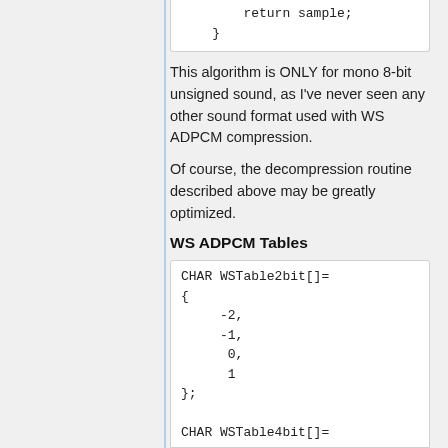return sample;
}
This algorithm is ONLY for mono 8-bit unsigned sound, as I've never seen any other sound format used with WS ADPCM compression.
Of course, the decompression routine described above may be greatly optimized.
WS ADPCM Tables
CHAR WSTable2bit[]=
{
    -2,
    -1,
     0,
     1
};

CHAR WSTable4bit[]=